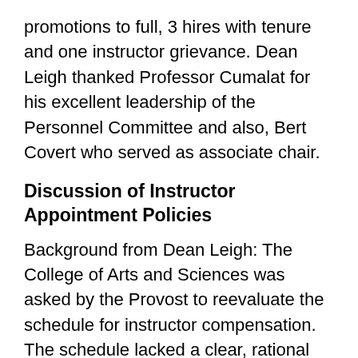promotions to full, 3 hires with tenure and one instructor grievance. Dean Leigh thanked Professor Cumalat for his excellent leadership of the Personnel Committee and also, Bert Covert who served as associate chair.
Discussion of Instructor Appointment Policies
Background from Dean Leigh: The College of Arts and Sciences was asked by the Provost to reevaluate the schedule for instructor compensation. The schedule lacked a clear, rational basis. Many instructors were working 3/3 then taking a 2 course overload. Overload courses weren't included in merit reviews. The college has now defined a system that at its core is a $6,000 per course way of allocating teaching. The departments were given a range in compensation they can give. It doesn't impact any instructors currently under contract. Other changes are rationalizing merit raising and changing the percent appointment, making them scale with the number of courses taught.